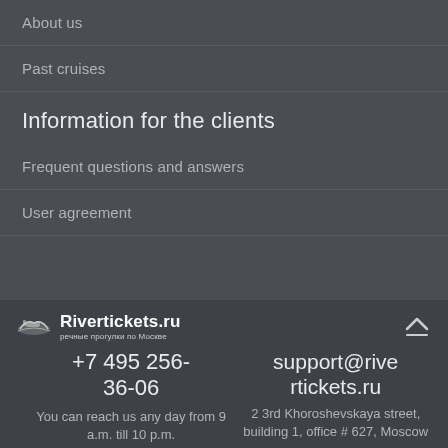About us
Past cruises
Information for the clients
Frequent questions and answers
User agreement
Rivertickets.ru | +7 495 256-36-06 | You can reach us any day from 9 a.m. till 10 p.m. | support@rivertickets.ru | 2 3rd Khoroshevskaya street, building 1, office # 627, Moscow